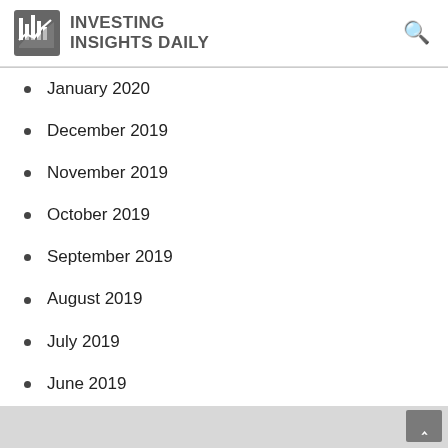INVESTING INSIGHTS DAILY
January 2020
December 2019
November 2019
October 2019
September 2019
August 2019
July 2019
June 2019
May 2019
^